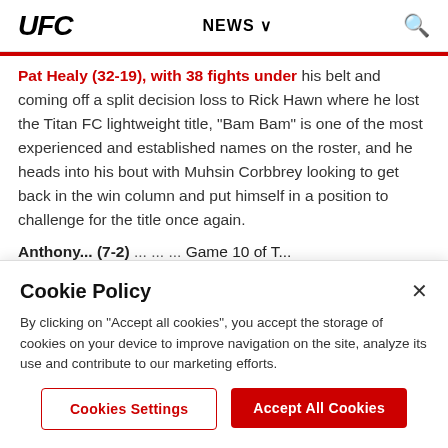UFC  NEWS ∨  🔍
Pat Healy (32-19), with 38 fights under his belt and coming off a split decision loss to Rick Hawn where he lost the Titan FC lightweight title, "Bam Bam" is one of the most experienced and established names on the roster, and he heads into his bout with Muhsin Corbbrey looking to get back in the win column and put himself in a position to challenge for the title once again.
Anthony ... (7-2) ... ... ... Game 10 of T...
Cookie Policy
By clicking on "Accept all cookies", you accept the storage of cookies on your device to improve navigation on the site, analyze its use and contribute to our marketing efforts.
Cookies Settings
Accept All Cookies